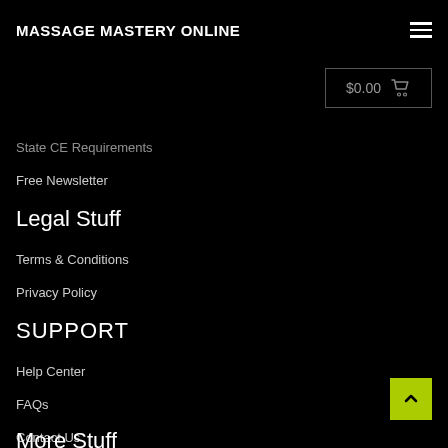MASSAGE MASTERY ONLINE
$0.00
State CE Requirements
Free Newsletter
Legal Stuff
Terms & Conditions
Privacy Policy
SUPPORT
Help Center
FAQs
Contact Us
More Stuff